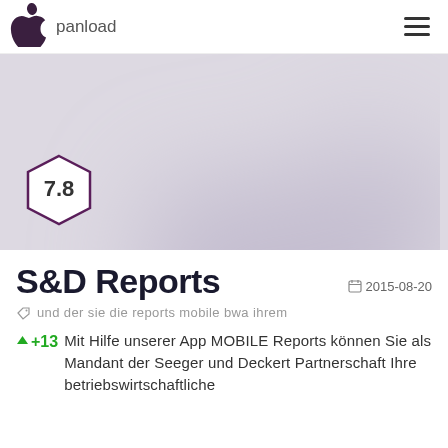panload
[Figure (illustration): Blurred Apple logo silhouette on light purple/grey background with a hexagon badge showing rating 7.8]
S&D Reports
2015-08-20
und der sie die reports mobile bwa ihrem
+13  Mit Hilfe unserer App MOBILE Reports können Sie als Mandant der Seeger und Deckert Partnerschaft Ihre betriebswirtschaftliche